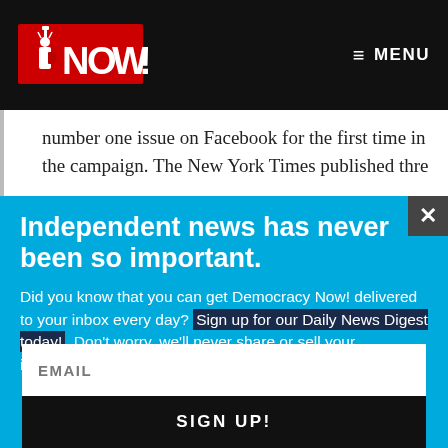Democracy Now! | MENU
number one issue on Facebook for the first time in the campaign. The New York Times published thre
Independent news has never been so important.
Did you know that you can get Democracy Now! delivered to your inbox every day? Sign up for our Daily News Digest today! Don't worry, we'll never share or sell your information.
EMAIL
SIGN UP!